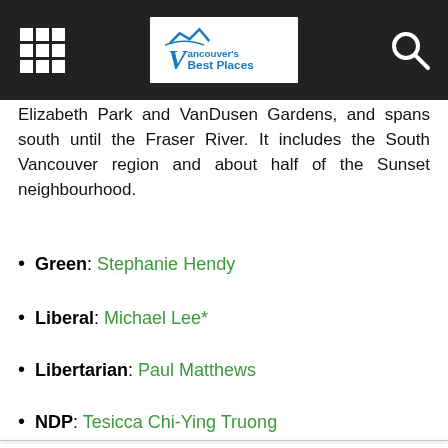Vancouver's Best Places
Elizabeth Park and VanDusen Gardens, and spans south until the Fraser River. It includes the South Vancouver region and about half of the Sunset neighbourhood.
Green: Stephanie Hendy
Liberal: Michael Lee*
Libertarian: Paul Matthews
NDP: Tesicca Chi-Ying Truong
We use cookies and other tracking technologies to improve your browsing experience on our website, to show you personalized content and targeted ads, to analyze our website traffic, and to understand where our visitors are coming from. By browsing our website, you consent to our use of cookies and other tracking technologies.